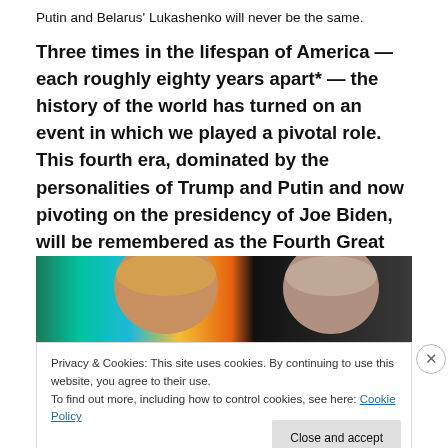Putin and Belarus' Lukashenko will never be the same.
Three times in the lifespan of America — each roughly eighty years apart* — the history of the world has turned on an event in which we played a pivotal role. This fourth era, dominated by the personalities of Trump and Putin and now pivoting on the presidency of Joe Biden, will be remembered as the Fourth Great Turning.
[Figure (photo): Photo showing the tops of two heads — one with blond/orange hair on the left and one with grey hair on the right, against a colorful background.]
Privacy & Cookies: This site uses cookies. By continuing to use this website, you agree to their use.
To find out more, including how to control cookies, see here: Cookie Policy
Close and accept